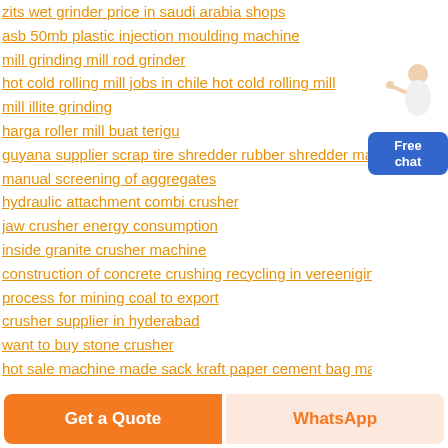zits wet grinder price in saudi arabia shops
asb 50mb plastic injection moulding machine
mill grinding mill rod grinder
hot cold rolling mill jobs in chile hot cold rolling mill
mill illite grinding
harga roller mill buat terigu
guyana supplier scrap tire shredder rubber shredder machine
manual screening of aggregates
hydraulic attachment combi crusher
jaw crusher energy consumption
inside granite crusher machine
construction of concrete crushing recycling in vereenigingri
process for mining coal to export
crusher supplier in hyderabad
want to buy stone crusher
hot sale machine made sack kraft paper cement bag manufacturers
[Figure (illustration): Free chat widget with a woman figure and a blue button labeled 'Free chat']
Get a Quote
WhatsApp